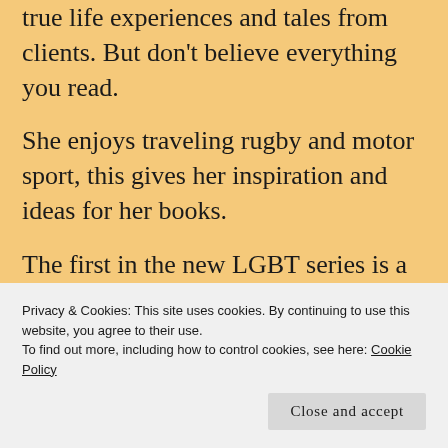true life experiences and tales from clients. But don't believe everything you read.
She enjoys traveling rugby and motor sport, this gives her inspiration and ideas for her books.
The first in the new LGBT series is a mm romance novel about a race car driver and his mechanic.
Privacy & Cookies: This site uses cookies. By continuing to use this website, you agree to their use.
To find out more, including how to control cookies, see here: Cookie Policy